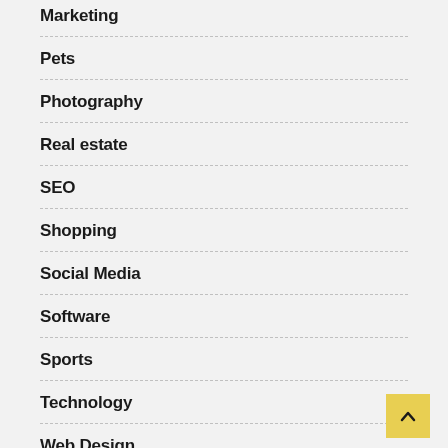Marketing
Pets
Photography
Real estate
SEO
Shopping
Social Media
Software
Sports
Technology
Web Design